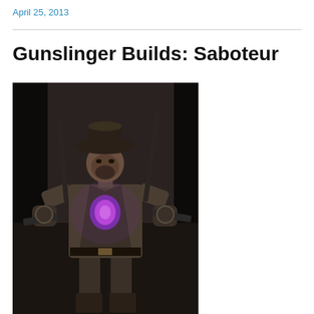April 25, 2013
Gunslinger Builds: Saboteur
[Figure (screenshot): A video game character screenshot showing a gunslinger/cowboy-type character wearing a wide-brimmed hat, long coat, and holding two weapons (pistols or rifles), with a glowing purple/pink chest piece, standing in a dark indoor environment.]